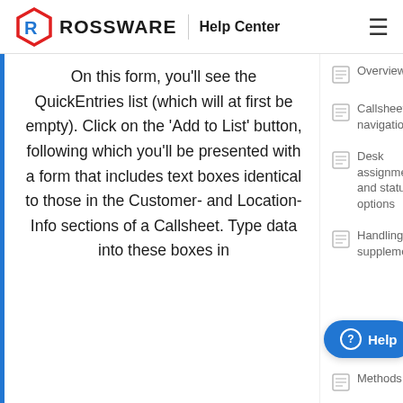ROSSWARE | Help Center
On this form, you'll see the QuickEntries list (which will at first be empty). Click on the 'Add to List' button, following which you'll be presented with a form that includes text boxes identical to those in the Customer- and Location-Info sections of a Callsheet. Type data into these boxes in
Overview
Callsheet navigation
Desk assignment and status options
Handling supplementary information
Methods